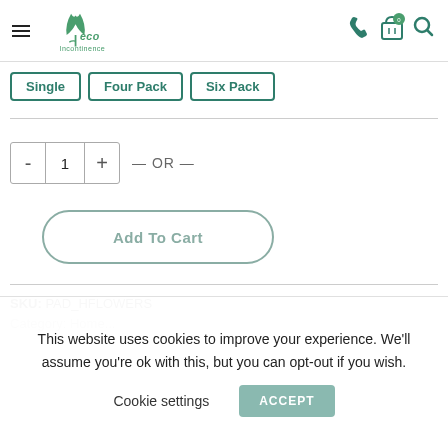eco Incontinence — navigation header with hamburger menu, logo, phone icon, cart (0), search icon
Single
Four Pack
Six Pack
- 1 + — OR —
Add To Cart
SKU: PAD_HFLOWERS
Category: Home...
This website uses cookies to improve your experience. We'll assume you're ok with this, but you can opt-out if you wish.
Cookie settings    ACCEPT